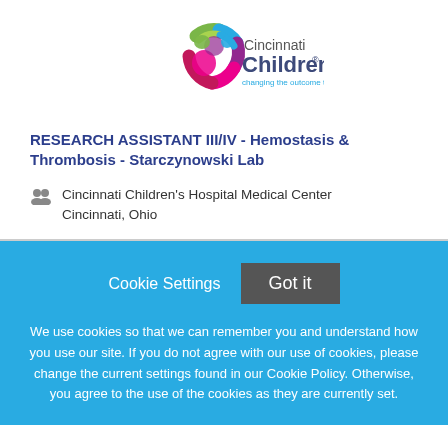[Figure (logo): Cincinnati Children's Hospital logo with colorful circular icon and text 'Cincinnati Children's - changing the outcome together']
RESEARCH ASSISTANT III/IV - Hemostasis & Thrombosis - Starczynowski Lab
Cincinnati Children's Hospital Medical Center
Cincinnati, Ohio
Cookie Settings  Got it
We use cookies so that we can remember you and understand how you use our site. If you do not agree with our use of cookies, please change the current settings found in our Cookie Policy. Otherwise, you agree to the use of the cookies as they are currently set.